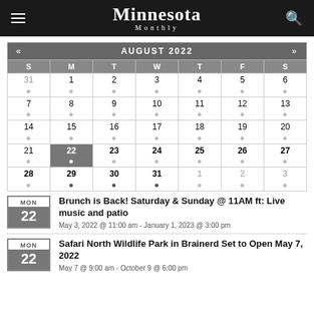Minnesota Monthly
| S | M | T | W | T | F | S |
| --- | --- | --- | --- | --- | --- | --- |
| 31 | 1 | 2 | 3 | 4 | 5 | 6 |
| 7 | 8 | 9 | 10 | 11 | 12 | 13 |
| 14 | 15 | 16 | 17 | 18 | 19 | 20 |
| 21 | 22 | 23 | 24 | 25 | 26 | 27 |
| 28 | 29 | 30 | 31 | 1 | 2 | 3 |
Brunch is Back! Saturday & Sunday @ 11AM ft: Live music and patio
May 3, 2022 @ 11:00 am - January 1, 2023 @ 3:00 pm
Safari North Wildlife Park in Brainerd Set to Open May 7, 2022
May 7 @ 9:00 am - October 9 @ 6:00 pm